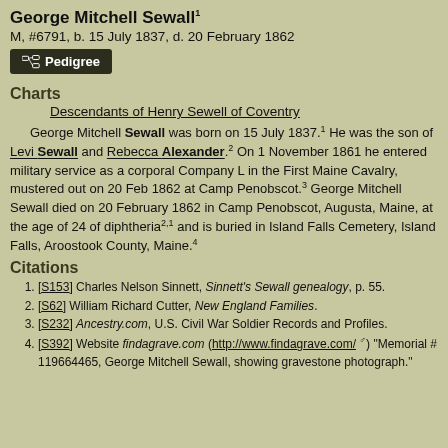George Mitchell Sewall¹
M, #6791, b. 15 July 1837, d. 20 February 1862
[Figure (other): Pedigree button with icon]
Charts
Descendants of Henry Sewell of Coventry
George Mitchell Sewall was born on 15 July 1837.¹ He was the son of Levi Sewall and Rebecca Alexander.² On 1 November 1861 he entered military service as a corporal Company L in the First Maine Cavalry, mustered out on 20 Feb 1862 at Camp Penobscot.³ George Mitchell Sewall died on 20 February 1862 in Camp Penobscot, Augusta, Maine, at the age of 24 of diphtheria²˒¹ and is buried in Island Falls Cemetery, Island Falls, Aroostook County, Maine.⁴
Citations
[S153] Charles Nelson Sinnett, Sinnett's Sewall genealogy, p. 55.
[S62] William Richard Cutter, New England Families.
[S232] Ancestry.com, U.S. Civil War Soldier Records and Profiles.
[S392] Website findagrave.com (http://www.findagrave.com/) "Memorial # 119664465, George Mitchell Sewall, showing gravestone photograph."